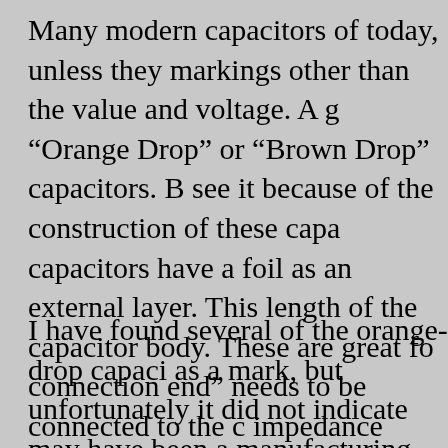Many modern capacitors of today, unless they markings other than the value and voltage. A g "Orange Drop" or "Brown Drop" capacitors. B see it because of the construction of these capa capacitors have a foil as an external layer. This length of the capacitor body. These are great fo connection end" needs to be connected to the c impedance point. This ensures the best perform circuit from undue noise or hum.
I have found several of the orange-drop capaci as a mark, but unfortunately it did not indicate may have been a manufacturing error, but it do side connection can be identified by using a sm applied, or an oscilloscope. The oscilloscope m simply attach the test leads to the capacitor, set measurement, and physically hold the capacit